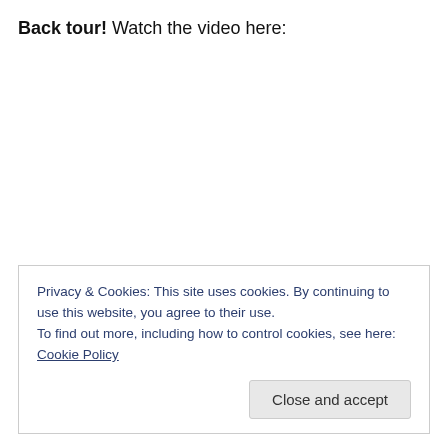Back tour! Watch the video here:
Privacy & Cookies: This site uses cookies. By continuing to use this website, you agree to their use.
To find out more, including how to control cookies, see here: Cookie Policy
Close and accept